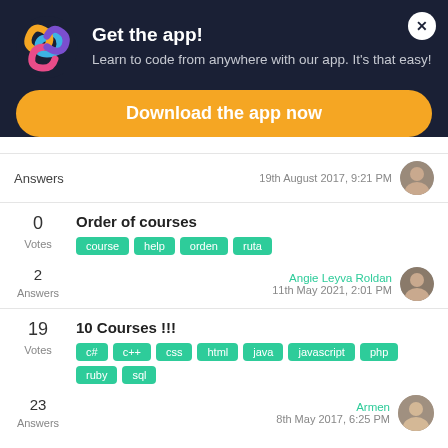[Figure (logo): Sololearn app logo with colorful spiral icon]
Get the app!
Learn to code from anywhere with our app. It's that easy!
Download the app now
Answers   19th August 2017, 9:21 PM
0 Votes
Order of courses
course
help
orden
ruta
2 Answers   Angie Leyva Roldan   11th May 2021, 2:01 PM
19 Votes
10 Courses !!!
c#
c++
css
html
java
javascript
php
ruby
sql
23 Answers   Armen   8th May 2017, 6:25 PM